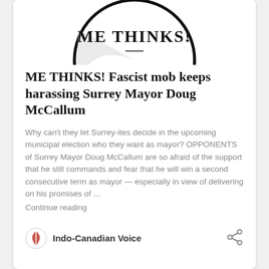[Figure (logo): Circular logo with text 'ME THINKS!' in bold serif font inside a circle, partially cropped at the top]
ME THINKS! Fascist mob keeps harassing Surrey Mayor Doug McCallum
Why can't they let Surrey-ites decide in the upcoming municipal election who they want as mayor? OPPONENTS of Surrey Mayor Doug McCallum are so afraid of the support that he still commands and fear that he will win a second consecutive term as mayor — especially in view of delivering on his promises of …
Continue reading
Indo-Canadian Voice